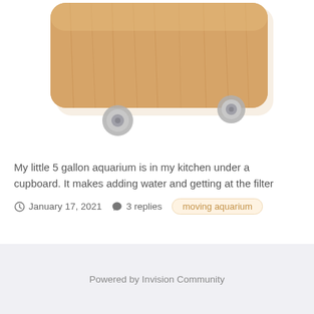[Figure (photo): A wooden rolling platform with rounded corners and four small transparent/chrome caster wheels, photographed from above on a white background. The wood has a light oak grain texture.]
My little 5 gallon aquarium is in my kitchen under a cupboard. It makes adding water and getting at the filter
January 17, 2021   3 replies   moving aquarium
Powered by Invision Community